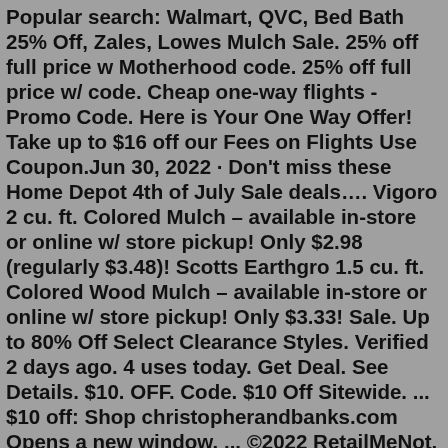Popular search: Walmart, QVC, Bed Bath 25% Off, Zales, Lowes Mulch Sale. 25% off full price w Motherhood code. 25% off full price w/ code. Cheap one-way flights - Promo Code. Here is Your One Way Offer! Take up to $16 off our Fees on Flights Use Coupon.Jun 30, 2022 · Don't miss these Home Depot 4th of July Sale deals…. Vigoro 2 cu. ft. Colored Mulch – available in-store or online w/ store pickup! Only $2.98 (regularly $3.48)! Scotts Earthgro 1.5 cu. ft. Colored Wood Mulch – available in-store or online w/ store pickup! Only $3.33! Sale. Up to 80% Off Select Clearance Styles. Verified 2 days ago. 4 uses today. Get Deal. See Details. $10. OFF. Code. $10 Off Sitewide. ... $10 off: Shop christopherandbanks.com Opens a new window. ... ©2022 RetailMeNot, Inc.Overview & Benefits. Colorstay™ by Scotts Mulch uses ColorLast TM technology to provide year-long color, guaranteed! The natural recovered forest product helps conserve soil moisture, moderate soil temperature and prevent weeds naturally. Available in 2 cu. ft. bags. FIND A STORE.The